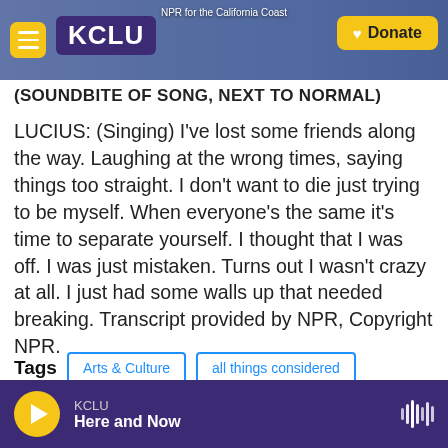NPR for the California Coast | KCLU | Donate
(SOUNDBITE OF SONG, NEXT TO NORMAL)
LUCIUS: (Singing) I've lost some friends along the way. Laughing at the wrong times, saying things too straight. I don't want to die just trying to be myself. When everyone's the same it's time to separate yourself. I thought that I was off. I was just mistaken. Turns out I wasn't crazy at all. I just had some walls up that needed breaking. Transcript provided by NPR, Copyright NPR.
Tags  Arts & Culture  all things considered
KCLU  Here and Now